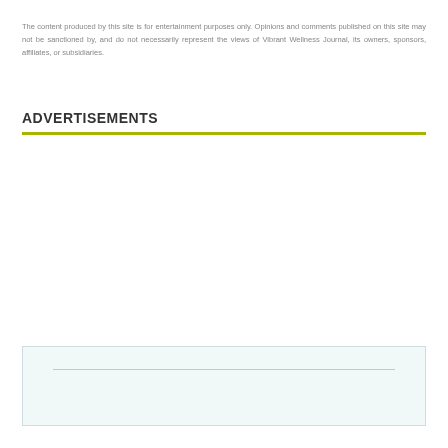The content produced by this site is for entertainment purposes only. Opinions and comments published on this site may not be sanctioned by, and do not necessarily represent the views of Vibrant Wellness Journal, its owners, sponsors, affiliates, or subsidiaries.
ADVERTISEMENTS
[Figure (other): Advertisement placeholder box with light blue-green background and a horizontal line near the top]